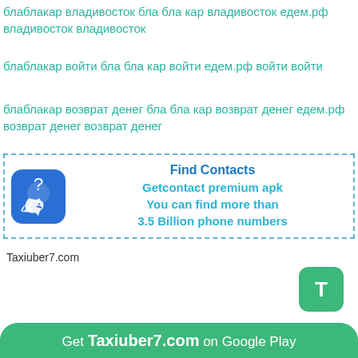блаблакар владивосток бла бла кар владивосток едем.рф владивосток владивосток
блаблакар войти бла бла кар войти едем.рф войти войти
блаблакар возврат денег бла бла кар возврат денег едем.рф возврат денег возврат денег
[Figure (infographic): Advertisement box with dashed border containing a phone/contacts app icon on the left and text: Find Contacts, Getcontact premium apk, You can find more than 3.5 Billion phone numbers]
Taxiuber7.com
[Figure (illustration): Green rounded square button with letter T]
Get Taxiuber7.com on Google Play